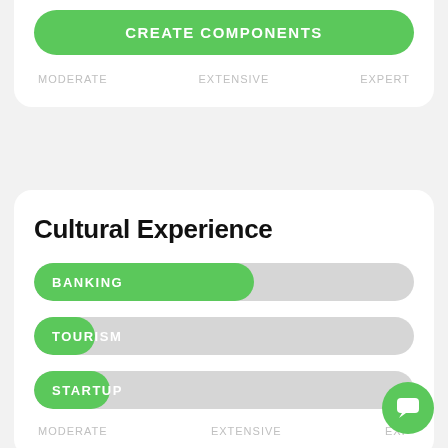[Figure (screenshot): Green 'CREATE COMPONENTS' button]
MODERATE    EXTENSIVE    EXPERT
Cultural Experience
[Figure (bar-chart): Cultural Experience]
MODERATE    EXTENSIVE    EXP...